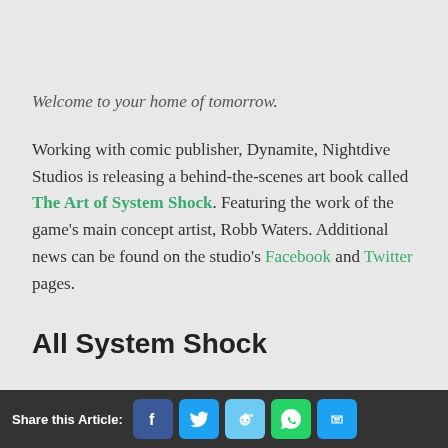Welcome to your home of tomorrow.
Working with comic publisher, Dynamite, Nightdive Studios is releasing a behind-the-scenes art book called The Art of System Shock. Featuring the work of the game's main concept artist, Robb Waters. Additional news can be found on the studio's Facebook and Twitter pages.
All System Shock
Share this Article: [Facebook] [Twitter] [Reddit] [WhatsApp] [Email]